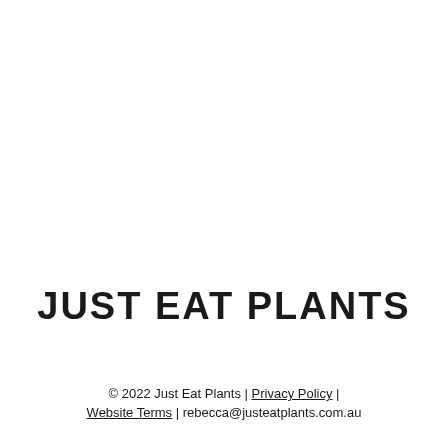JUST EAT PLANTS
© 2022 Just Eat Plants | Privacy Policy | Website Terms | rebecca@justeatplants.com.au